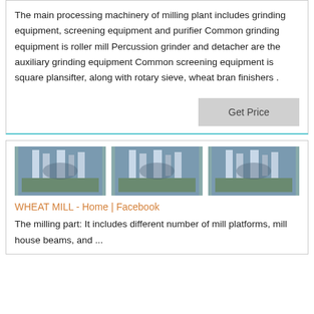The main processing machinery of milling plant includes grinding equipment, screening equipment and purifier Common grinding equipment is roller mill Percussion grinder and detacher are the auxiliary grinding equipment Common screening equipment is square plansifter, along with rotary sieve, wheat bran finishers .
Get Price
[Figure (photo): Three aerial/overhead photographs of an industrial milling plant facility showing blue equipment and structures]
WHEAT MILL - Home | Facebook
The milling part: It includes different number of mill platforms, mill house beams, and ...